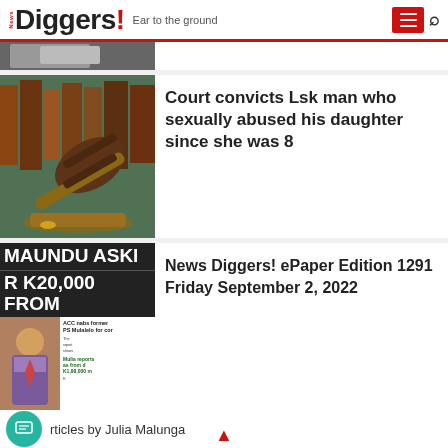News Diggers! Ear to the ground
[Figure (photo): Partial thumbnail image at top, cropped]
[Figure (photo): Judge's gavel on wooden surface]
Court convicts Lsk man who sexually abused his daughter since she was 8
[Figure (photo): Newspaper front page thumbnail showing 'MAUNDU ASKI R K20,000 FROM' headline with newspaper layout]
News Diggers! ePaper Edition 1291 Friday September 2, 2022
rticles by Julia Malunga